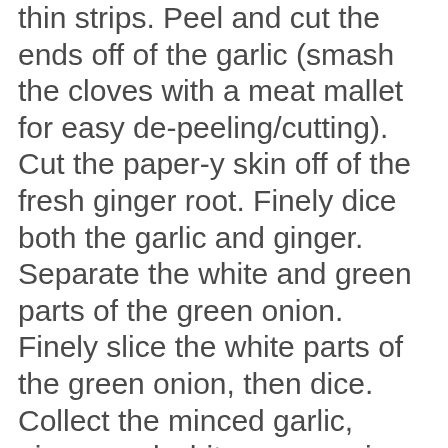thin strips. Peel and cut the ends off of the garlic (smash the cloves with a meat mallet for easy de-peeling/cutting). Cut the paper-y skin off of the fresh ginger root. Finely dice both the garlic and ginger. Separate the white and green parts of the green onion. Finely slice the white parts of the green onion, then dice. Collect the minced garlic, ginger and white green onion parts into a large pile. Leave the green leaves of the green onion as long 3 inch pieces. Wash and cut the tough ends off of the bok choy leaves; slice leaves into 1 inch long pieces. Likewise, separate the light green bok choy stalks from the dark green leaves. 2. Heat 1 Tbsp. peanut oil over medium-high heat in the wok. Add in half of the garlic, ginger and diced white green onion pieces. Let the oil